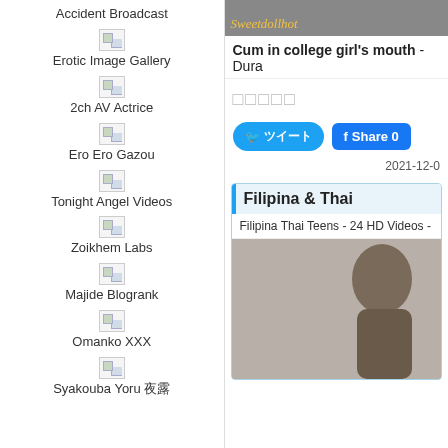Accident Broadcast
Erotic Image Gallery
2ch AV Actrice
Ero Ero Gazou
Tonight Angel Videos
Zoikhem Labs
Majide Blogrank
Omanko XXX
Syakouba Yoru 夜露
[Figure (screenshot): Video thumbnail with Sweetdollhot watermark]
Cum in college girl's mouth - Dura
□□□□□
ツイート  Share 0
2021-12-0
Filipina & Thai
Filipina Thai Teens - 24 HD Videos -
[Figure (photo): Woman photo thumbnail]